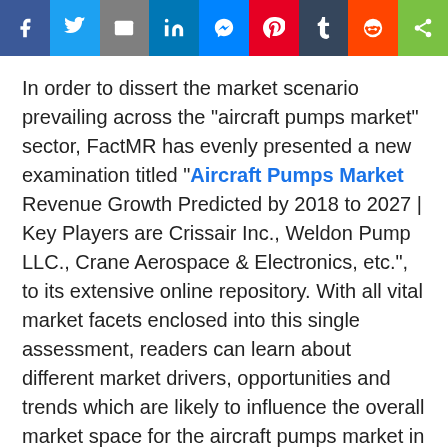[Figure (other): Social media share buttons row: Facebook, Twitter, Email, LinkedIn, Messenger, Pinterest, Tumblr, Reddit, ShareThis]
In order to dissert the market scenario prevailing across the "aircraft pumps market" sector, FactMR has evenly presented a new examination titled "Aircraft Pumps Market Revenue Growth Predicted by 2018 to 2027 | Key Players are Crissair Inc., Weldon Pump LLC., Crane Aerospace & Electronics, etc.", to its extensive online repository. With all vital market facets enclosed into this single assessment, readers can learn about different market drivers, opportunities and trends which are likely to influence the overall market space for the aircraft pumps market in the coming years. In addition, factors such as market size, Y-o-Y growth and revenue share are investigated so as